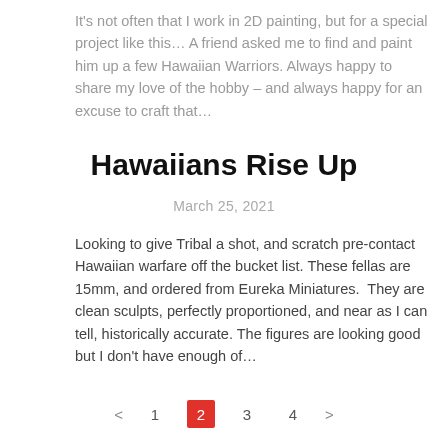It's not often that I work in 2D painting, but for a special project like this… A friend asked me to find and paint him up a few Hawaiian Warriors. Always happy to share my love of the hobby – and always happy for an excuse to craft that…
Hawaiians Rise Up
March 25, 2021
Looking to give Tribal a shot, and scratch pre-contact Hawaiian warfare off the bucket list. These fellas are 15mm, and ordered from Eureka Miniatures.  They are clean sculpts, perfectly proportioned, and near as I can tell, historically accurate. The figures are looking good but I don't have enough of…
< 1 2 3 4 >